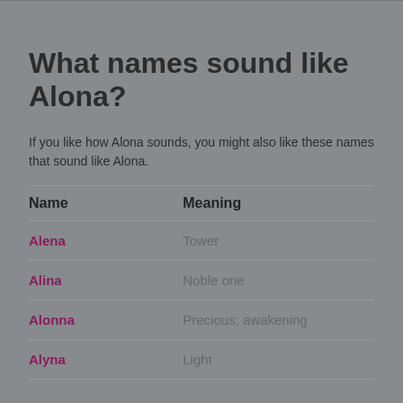What names sound like Alona?
If you like how Alona sounds, you might also like these names that sound like Alona.
| Name | Meaning |
| --- | --- |
| Alena | Tower |
| Alina | Noble one |
| Alonna | Precious; awakening |
| Alyna | Light |
What names are similar to Alona?
Find a name that's like Alona, but just a little bit different.